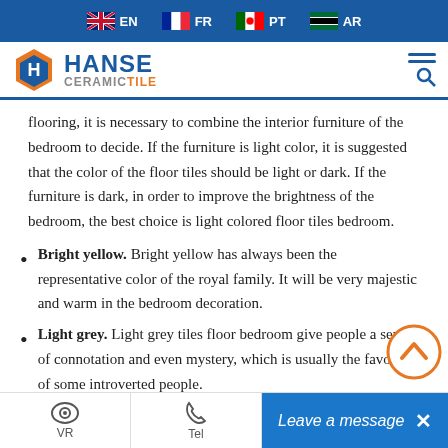EN  FR  PT  AR
[Figure (logo): Hanse Ceramic Tile logo with navigation menu icon]
flooring, it is necessary to combine the interior furniture of the bedroom to decide. If the furniture is light color, it is suggested that the color of the floor tiles should be light or dark. If the furniture is dark, in order to improve the brightness of the bedroom, the best choice is light colored floor tiles bedroom.
Bright yellow. Bright yellow has always been the representative color of the royal family. It will be very majestic and warm in the bedroom decoration.
Light grey. Light grey tiles floor bedroom give people a sense of connotation and even mystery, which is usually the favorite of some introverted people.
VR  Tel  Leave a message  X